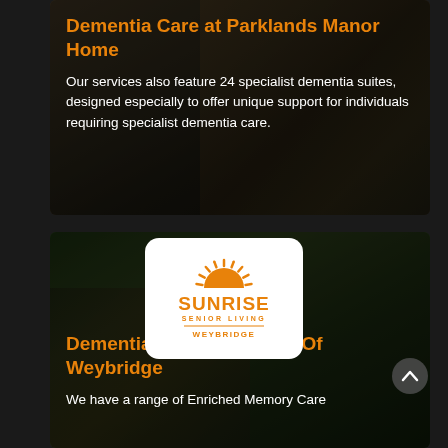Dementia Care at Parklands Manor Home
Our services also feature 24 specialist dementia suites, designed especially to offer unique support for individuals requiring specialist dementia care.
[Figure (logo): Sunrise Senior Living Weybridge logo — orange sun rays above a semicircle, text SUNRISE in large orange letters, SENIOR LIVING below, orange horizontal rule, WEYBRIDGE below that]
Dementia Care at Sunrise Of Weybridge
We have a range of Enriched Memory Care